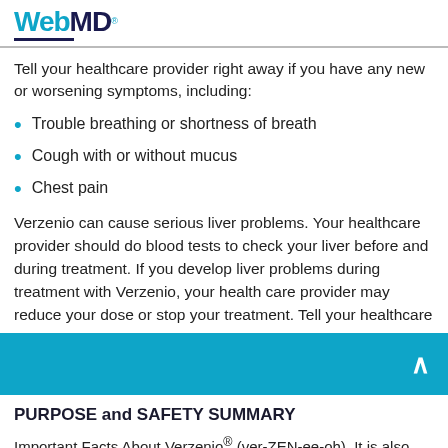WebMD
Tell your healthcare provider right away if you have any new or worsening symptoms, including:
Trouble breathing or shortness of breath
Cough with or without mucus
Chest pain
Verzenio can cause serious liver problems. Your healthcare provider should do blood tests to check your liver before and during treatment. If you develop liver problems during treatment with Verzenio, your health care provider may reduce your dose or stop your treatment. Tell your healthcare
PURPOSE and SAFETY SUMMARY
Important Facts About Verzenio® (ver-ZEN-ee-oh). It is also known as abemaciclib.
Verzenio is a prescription medicine used to treat certain types of breast cancer known as HR+/HER2– (hormone